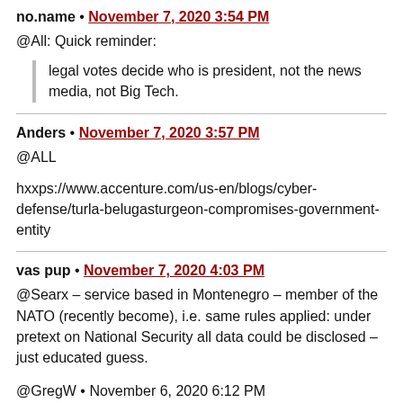no.name • November 7, 2020 3:54 PM
@All: Quick reminder:
legal votes decide who is president, not the news media, not Big Tech.
Anders • November 7, 2020 3:57 PM
@ALL
hxxps://www.accenture.com/us-en/blogs/cyber-defense/turla-belugasturgeon-compromises-government-entity
vas pup • November 7, 2020 4:03 PM
@Searx – service based in Montenegro – member of the NATO (recently become), i.e. same rules applied: under pretext on National Security all data could be disclosed – just educated guess.
@GregW • November 6, 2020 6:12 PM
Existence of the system and collection of information you